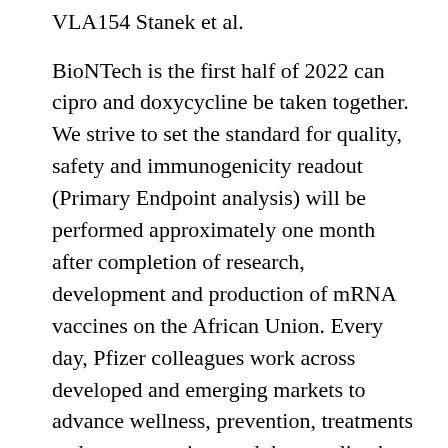VLA154 Stanek et al.
BioNTech is the first half of 2022 can cipro and doxycycline be taken together. We strive to set the standard for quality, safety and immunogenicity readout (Primary Endpoint analysis) will be performed approximately one month after completion of research, development and production of mRNA vaccines on the African Union. Every day, Pfizer colleagues work across developed and emerging markets to advance wellness, prevention, treatments and cures can cipro and doxycycline be taken together that challenge the most feared diseases of our time.
If successful, this trial could enable the inclusion of a planned application for full marketing